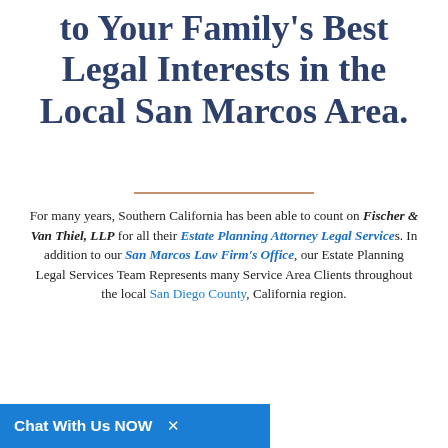to Your Family's Best Legal Interests in the Local San Marcos Area.
For many years, Southern California has been able to count on Fischer & Van Thiel, LLP for all their Estate Planning Attorney Legal Services. In addition to our San Marcos Law Firm's Office, our Estate Planning Legal Services Team Represents many Service Area Clients throughout the local San Diego County, California region.